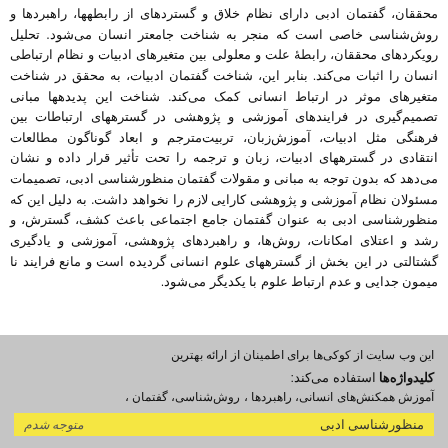محققان، گفتمان ادبی دارای نظام خلاق و گستردهای از رابطهها، راهبردها و روش‌شناسی خاصی است که منجر به شناخت جامعتر انسان می‌شود. تحلیل رویکردهای محققان، رابطۀ علت و معلولی بین متغیرهای ادبیات و نظام ارتباطی انسان را اثبات می‌کند. بنابر این، شناخت گفتمان ادبیات، به محقق در شناخت متغیرهای موثر در ارتباط انسانی کمک می‌کند. شناخت این پدیدهها مبانی تصمیم‌گیری در فرایندهای آموزشی و پژوهشی در گسترههای ارتباطات بین فرهنگی مثل ادبیات، آموزش‌زبان، تربیت‌مترجم و ابعاد گوناگون مطالعات انتقادی در گسترههای ادبیات، زبان و ترجمه را تحت تأثیر قرار داده و نشان می‌دهد که بدون توجه به مبانی و مقولات گفتمان منظورشناسی ادبی، تصمیمات مسئولان نظام آموزشی و پژوهشی کارایی لازم را نخواهد داشت. به دلیل این که منظورشناسی ادبی به عنوان گفتمان جامع اجتماعی باعث کشف، گسترش، و رشد و اعتلای امکانات، روش‌ها، و راهبردهای پژوهشی، آموزشی و یادگیری گشتالتی در این بخش از گسترههای علوم انسانی گردیده است و مانع فرایند نا میمون جدایی و عدم ارتباط علوم با یکدیگر می‌شود.
این وب سایت از کوکی‌ها برای اطمینان از ارائه بهترین
کلیدواژه‌ها استفاده می‌کند:
آموزش همکنش‌های انسانی، راهبردها، روش‌شناسی، گفتمان، منظورشناسی ادبی
متوجه شدم